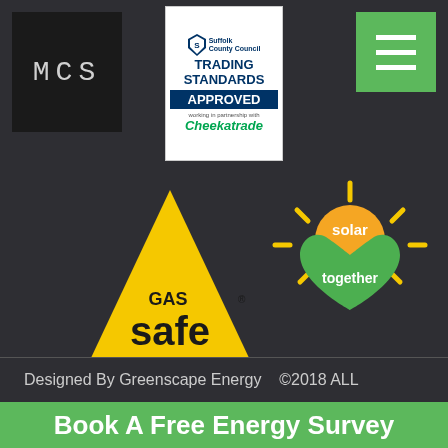[Figure (logo): MCS logo — white dotted/outlined letters MCS on dark background]
[Figure (logo): Suffolk County Council Trading Standards APPROVED working in partnership with Checkatrade badge]
[Figure (logo): Green hamburger menu icon on green background]
[Figure (logo): Gas Safe yellow triangle logo with GAS SAFE text]
[Figure (logo): Solar Together sun and heart logo in orange, yellow and green]
[Figure (logo): Norfolk Trusted Trader Member badge with blue checkmark and green leaf]
Designed By Greenscape Energy   ©2018 ALL
Book A Free Energy Survey